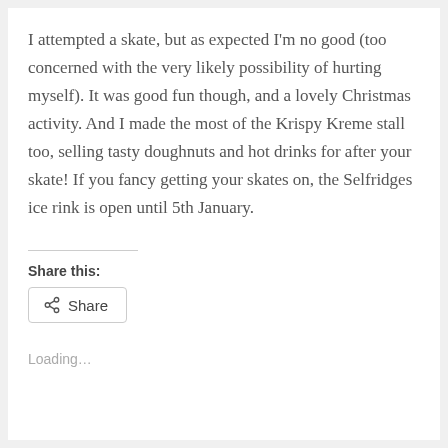I attempted a skate, but as expected I'm no good (too concerned with the very likely possibility of hurting myself). It was good fun though, and a lovely Christmas activity. And I made the most of the Krispy Kreme stall too, selling tasty doughnuts and hot drinks for after your skate! If you fancy getting your skates on, the Selfridges ice rink is open until 5th January.
Share this:
Share
Loading...